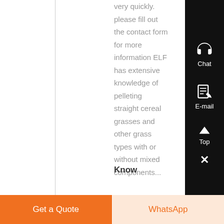very quickly. please fill out the contact form for more information ELF has extensive knowledge of pelleting straight cereal grasses and other grass types with or without mixed components...
Know
[Figure (other): Chat icon (headphones) in white on black sidebar with label 'Chat']
[Figure (other): E-mail icon in white on black sidebar with label 'E-mail']
[Figure (other): Top arrow icon in white on black sidebar with label 'Top']
[Figure (other): Close X icon in white on black sidebar]
Get a Quote
WhatsApp